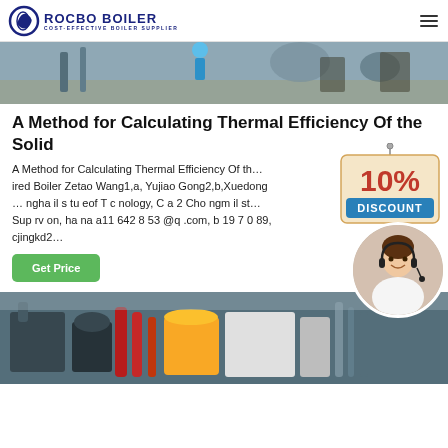ROCBO BOILER | COST-EFFECTIVE BOILER SUPPLIER
[Figure (photo): Industrial boiler facility photo, top portion visible]
A Method for Calculating Thermal Efficiency Of the Solid
A Method for Calculating Thermal Efficiency Of the Solid Fuel Fired Boiler Zetao Wang1,a, Yujiao Gong2,b,Xuedong ... ngha il s tu eof T c nology, C a 2 Cho ngm il st... Sup rv on, ha na a11 642 8 53 @q .com, b 19 7 0 89, cjingkd2...
[Figure (infographic): 10% DISCOUNT badge / promotional graphic]
[Figure (photo): Customer service representative with headset in circular frame]
[Figure (photo): Industrial boiler equipment photo at bottom of page]